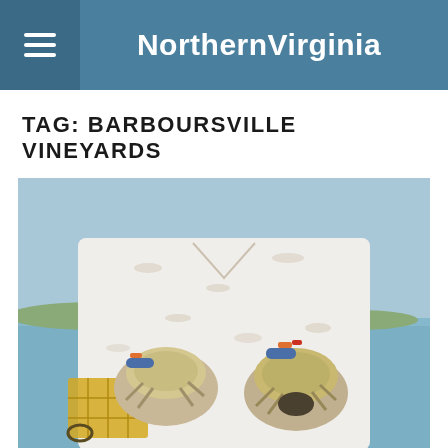NorthernVirginia
TAG: BARBOURSVILLE VINEYARDS
[Figure (photo): A person in a white fish-print shirt and work gloves holding up two blue crabs, one in each hand, with water and yellow crab traps visible in the background.]